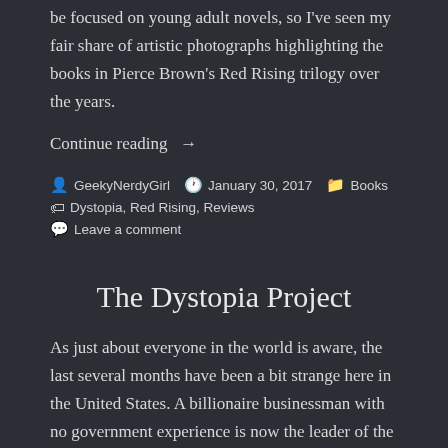be focused on young adult novels, so I've seen my fair share of artistic photographs highlighting the books in Pierce Brown's Red Rising trilogy over the years.
Continue reading →
GeekyNerdyGirl  January 30, 2017  Books  Dystopia, Red Rising, Reviews  Leave a comment
The Dystopia Project
As just about everyone in the world is aware, the last several months have been a bit strange here in the United States. A billionaire businessman with no government experience is now the leader of the free